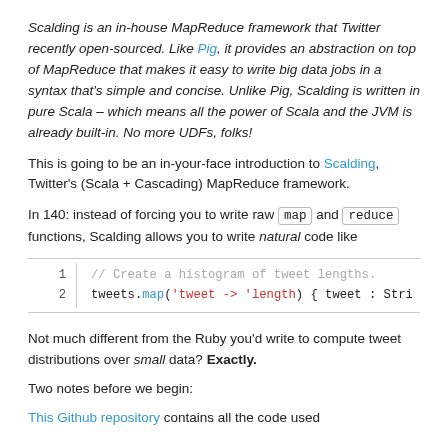Scalding is an in-house MapReduce framework that Twitter recently open-sourced. Like Pig, it provides an abstraction on top of MapReduce that makes it easy to write big data jobs in a syntax that's simple and concise. Unlike Pig, Scalding is written in pure Scala – which means all the power of Scala and the JVM is already built-in. No more UDFs, folks!
This is going to be an in-your-face introduction to Scalding, Twitter's (Scala + Cascading) MapReduce framework.
In 140: instead of forcing you to write raw map and reduce functions, Scalding allows you to write natural code like
[Figure (screenshot): Code block showing two lines: line 1: '// Create a histogram of tweet lengths.' in gray comment style; line 2: 'tweets.map(' in black with 'map' in blue, "'tweet -> 'length" in red, ") { tweet : Stri" in black. Line numbers 1 and 2 shown on left.]
Not much different from the Ruby you'd write to compute tweet distributions over small data? Exactly.
Two notes before we begin:
This Github repository contains all the code used